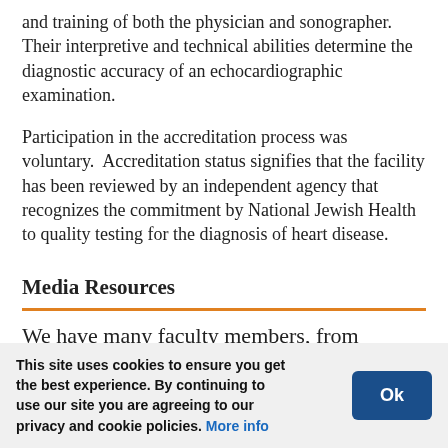and training of both the physician and sonographer. Their interpretive and technical abilities determine the diagnostic accuracy of an echocardiographic examination.
Participation in the accreditation process was voluntary. Accreditation status signifies that the facility has been reviewed by an independent agency that recognizes the commitment by National Jewish Health to quality testing for the diagnosis of heart disease.
Media Resources
We have many faculty members, from
This site uses cookies to ensure you get the best experience. By continuing to use our site you are agreeing to our privacy and cookie policies. More info